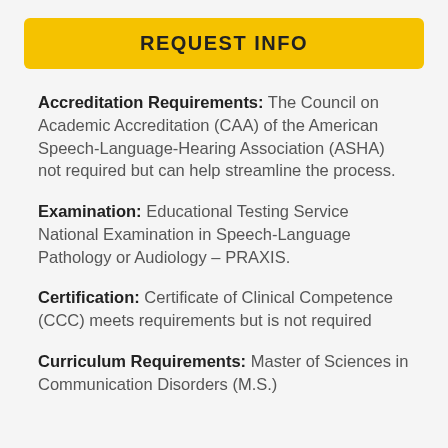REQUEST INFO
Accreditation Requirements: The Council on Academic Accreditation (CAA) of the American Speech-Language-Hearing Association (ASHA) not required but can help streamline the process.
Examination: Educational Testing Service National Examination in Speech-Language Pathology or Audiology – PRAXIS.
Certification: Certificate of Clinical Competence (CCC) meets requirements but is not required
Curriculum Requirements: Master of Sciences in Communication Disorders (M.S.)